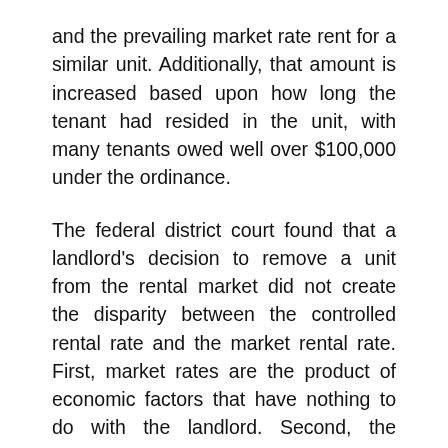and the prevailing market rate rent for a similar unit. Additionally, that amount is increased based upon how long the tenant had resided in the unit, with many tenants owed well over $100,000 under the ordinance.
The federal district court found that a landlord's decision to remove a unit from the rental market did not create the disparity between the controlled rental rate and the market rental rate. First, market rates are the product of economic factors that have nothing to do with the landlord. Second, the disparity between controlled rates and market rates exists only because the City chose to impose rent control. As a result, there was no valid connection between the rental disparity and the landlord's